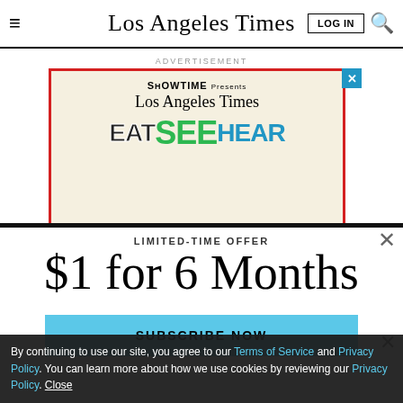Los Angeles Times
ADVERTISEMENT
[Figure (illustration): Showtime Presents Los Angeles Times EAT SEE HEAR advertisement banner with red border on cream background]
LIMITED-TIME OFFER
$1 for 6 Months
SUBSCRIBE NOW
By continuing to use our site, you agree to our Terms of Service and Privacy Policy. You can learn more about how we use cookies by reviewing our Privacy Policy. Close